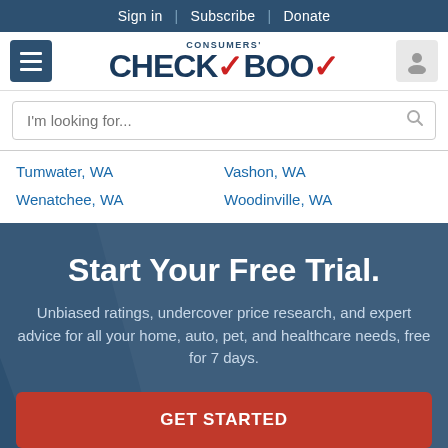Sign in | Subscribe | Donate
[Figure (logo): Consumers' Checkbook logo with red checkmark]
I'm looking for...
Tumwater, WA
Vashon, WA
Wenatchee, WA
Woodinville, WA
Start Your Free Trial.
Unbiased ratings, undercover price research, and expert advice for all your home, auto, pet, and healthcare needs, free for 7 days.
GET STARTED
NO THANKS, MAYBE LATER.